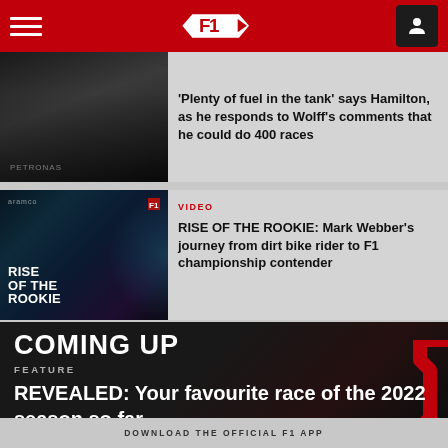F1 Official Website Navigation Header
Plenty of fuel in the tank says Hamilton, as he responds to Wolff's comments that he could do 400 races
VIDEO
RISE OF THE ROOKIE: Mark Webber's journey from dirt bike rider to F1 championship contender
COMING UP
FEATURE
REVEALED: Your favourite race of the 2022 season so far
DOWNLOAD THE OFFICIAL F1 APP